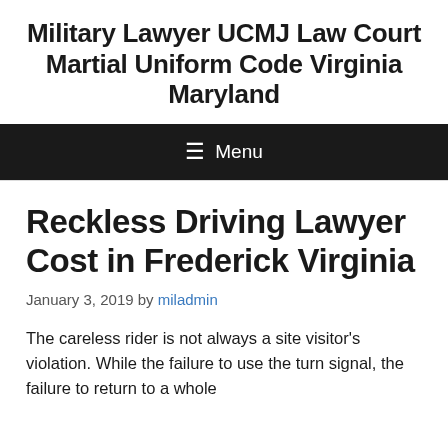Military Lawyer UCMJ Law Court Martial Uniform Code Virginia Maryland
☰ Menu
Reckless Driving Lawyer Cost in Frederick Virginia
January 3, 2019 by miladmin
The careless rider is not always a site visitor's violation. While the failure to use the turn signal, the failure to return to a whole